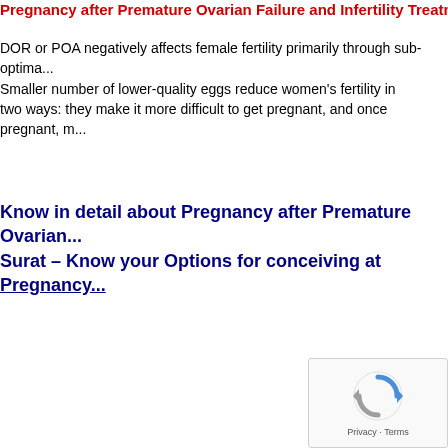Pregnancy after Premature Ovarian Failure and Infertility Treatment in...
DOR or POA negatively affects female fertility primarily through sub-optima... Smaller number of lower-quality eggs reduce women's fertility in two ways: they make it more difficult to get pregnant, and once pregnant, m...
Know in detail about Pregnancy after Premature Ovarian... Surat – Know your Options for conceiving at Pregnancy...
[Figure (other): reCAPTCHA widget with spinning arrows logo and Privacy - Terms text]